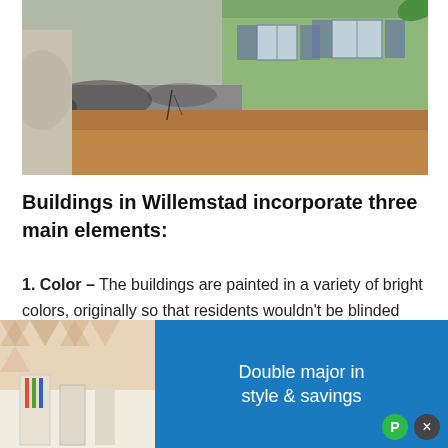[Figure (photo): Photograph of weathered buildings in Willemstad, Curaçao. Shows a crumbling stone/adobe wall with mold and wear, and a green building with shuttered windows in the background.]
Buildings in Willemstad incorporate three main elements:
1. Color – The buildings are painted in a variety of bright colors, originally so that residents wouldn't be blinded from the sun's glare off of the all-white town.
2. Porches – [partially obscured by advertisement]
[Figure (screenshot): Advertisement overlay showing a room with desk and geometric wallpaper on left panel, and a blue panel on right with text 'Double major in style & savings'. Green P icon and X close button visible.]